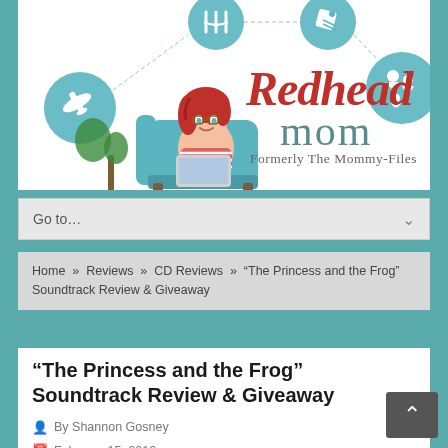[Figure (logo): Redhead Mom blog logo — cartoon redhead woman sitting in teal armchair with laptop, surrounded by circular icons (food, travel, shopping, family). Text reads 'Redhead mom Formerly The Mommy-Files' in red and grey script/serif.]
Go to...
Home » Reviews » CD Reviews » "The Princess and the Frog" Soundtrack Review & Giveaway
"The Princess and the Frog" Soundtrack Review & Giveaway
By Shannon Gosney
February 15, 2010